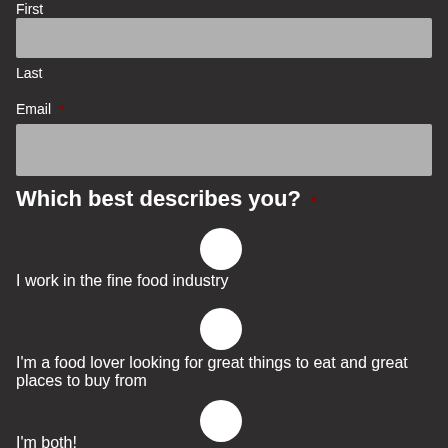First
Last
Email *
Which best describes you? *
I work in the fine food industry
I'm a food lover looking for great things to eat and great places to buy from
I'm both!